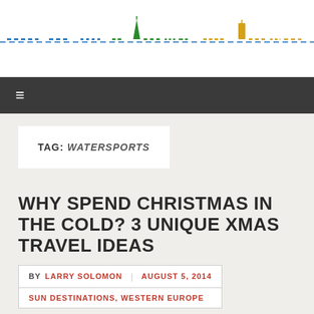[Figure (illustration): Travel blog website header with colorful city skyline silhouette logo in green, blue, and yellow colors on white background]
≡
TAG: WATERSPORTS
WHY SPEND CHRISTMAS IN THE COLD? 3 UNIQUE XMAS TRAVEL IDEAS
BY LARRY SOLOMON | AUGUST 5, 2014
SUN DESTINATIONS, WESTERN EUROPE
[Figure (photo): Partial travel photo visible at bottom of page]